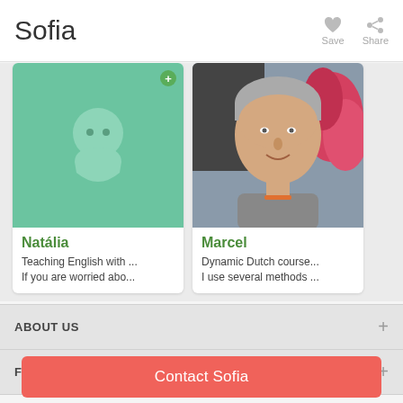Sofia
Save
Share
[Figure (illustration): Profile card for Natalia with green avatar placeholder and plus badge]
Natália
Teaching English with ...
If you are worried abo...
[Figure (photo): Profile card for Marcel showing a middle-aged man smiling with gray hair, outdoors near pink flowers]
Marcel
Dynamic Dutch course...
I use several methods ...
ABOUT US
FOLLOW US
Contact Sofia